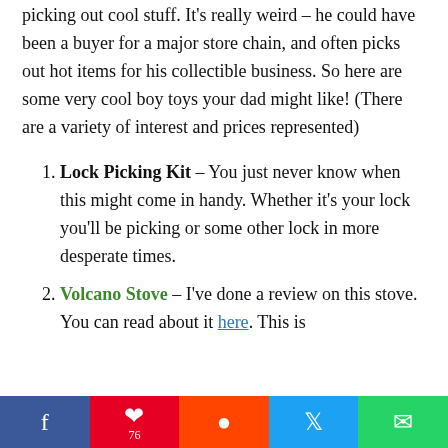picking out cool stuff. It's really weird – he could have been a buyer for a major store chain, and often picks out hot items for his collectible business. So here are some very cool boy toys your dad might like! (There are a variety of interest and prices represented)
Lock Picking Kit – You just never know when this might come in handy. Whether it's your lock you'll be picking or some other lock in more desperate times.
Volcano Stove – I've done a review on this stove. You can read about it here. This is
f  P 76  reddit  twitter  whatsapp